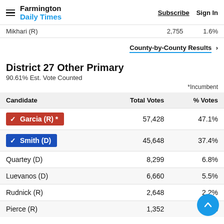Farmington Daily Times | Subscribe | Sign In
Mikhari (R)  2,755  1.6%
County-by-County Results ›
District 27 Other Primary
90.61% Est. Vote Counted
*Incumbent
| Candidate | Total Votes | % Votes |
| --- | --- | --- |
| Garcia (R) * | 57,428 | 47.1% |
| Smith (D) | 45,648 | 37.4% |
| Quartey (D) | 8,299 | 6.8% |
| Luevanos (D) | 6,660 | 5.5% |
| Rudnick (R) | 2,648 | 2.2% |
| Pierce (R) | 1,352 | 1.1% |